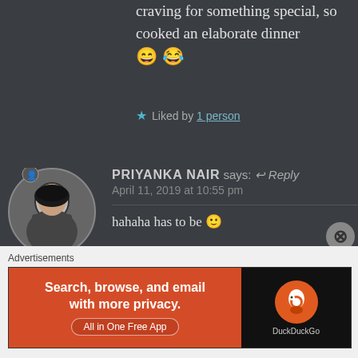craving for something special, so cooked an elaborate dinner 😄 😂
★ Liked by 1 person
PRIYANKA NAIR says: Reply April 11, 2019 at 10:55 pm
hahaha has to be 🙂
★ Liked by 1 person
Advertisements
[Figure (screenshot): DuckDuckGo advertisement banner: orange left section with text 'Search, browse, and email with more privacy. All in One Free App' and black right section with DuckDuckGo logo]